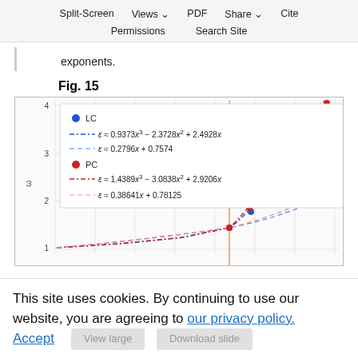Split-Screen  Views  PDF  Share  Cite  Permissions  Search Site
exponents.
Fig. 15
[Figure (continuous-plot): A plot showing two curves (LC in blue, PC in red) with cubic and linear polynomial fits. Legend shows: LC with ε ≈ 0.9373x³ − 2.3728x² + 2.4928x (cubic, blue dash-dot) and ε ≈ 0.2796x + 0.7574 (linear, blue dashed); PC with ε ≈ 1.4389x³ − 3.0838x² + 2.9206x (cubic, red dash-dot) and ε ≈ 0.38641x + 0.78125 (linear, red dashed). A vertical orange line at x = 0.66664. Y-axis from 1 to 4, labeled 'ω'. Both curves rise steeply to the right of the vertical line.]
This site uses cookies. By continuing to use our website, you are agreeing to our privacy policy. Accept